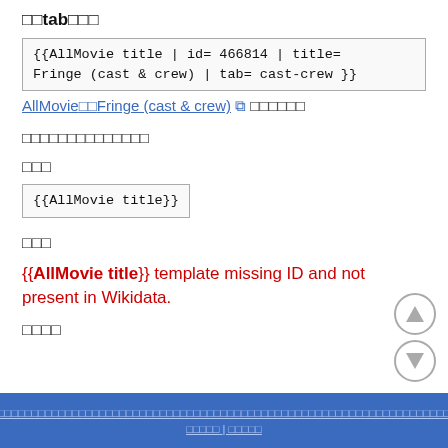□□tab□□□
{{AllMovie title | id= 466814 | title= Fringe (cast & crew) | tab= cast-crew }}
AllMovie□□Fringe (cast & crew) □ □□□□□□
□□□□□□□□□□□□□□
□□□
{{AllMovie title}}
□□□
{{AllMovie title}} template missing ID and not present in Wikidata.
□□□□
□□□□□□□□□□□□□□□□□□□□□□□□□□□□□□□□□□□□□□□□□□□□□□□□□□□□□□□□□□□□□□□□□□□□□□□□□□□ | □□□□□